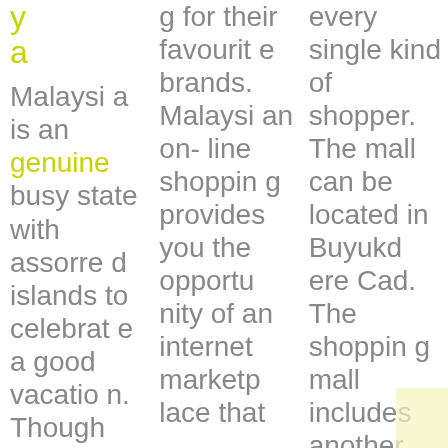y
a
Malaysia is an genuine busy state with assorted islands to celebrate a good vacation. Though th...
g for their favourite brands. Malaysian on-line shopping provides you the opportunity of an internet marketplace that
every single kind of shopper. The mall can be located in Buyukdere Cad. The shopping mall includes another parking facility for over